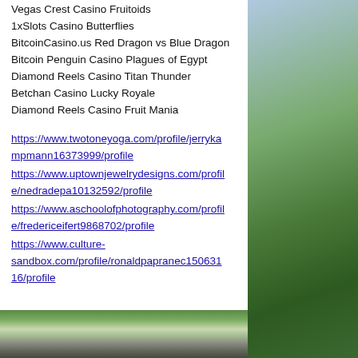Vegas Crest Casino Fruitoids
1xSlots Casino Butterflies
BitcoinCasino.us Red Dragon vs Blue Dragon
Bitcoin Penguin Casino Plagues of Egypt
Diamond Reels Casino Titan Thunder
Betchan Casino Lucky Royale
Diamond Reels Casino Fruit Mania
https://www.twotoneyoga.com/profile/jerrykampmann16373999/profile
https://www.uptownjewelrydesigns.com/profile/nedradepa10132592/profile
https://www.aschoolofphotography.com/profile/fredericeifert9868702/profile
https://www.culture-sandbox.com/profile/ronaldpapranec15063116/profile
[Figure (photo): Mountain landscape with green forest and rocky terrain, partial view at right side. Bottom shows a rocky path with ferns.]